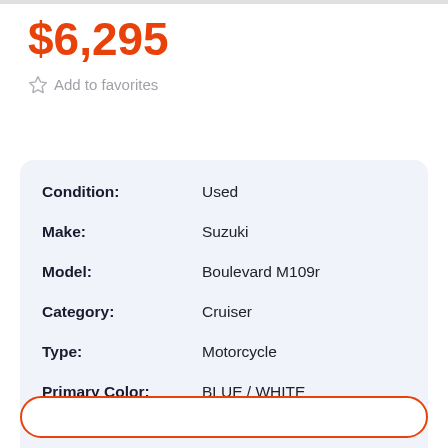$6,295
Add to favorites
| Field | Value |
| --- | --- |
| Condition: | Used |
| Make: | Suzuki |
| Model: | Boulevard M109r |
| Category: | Cruiser |
| Type: | Motorcycle |
| Primary Color: | BLUE / WHITE |
| VIN: | JS1VY54A682102640 |